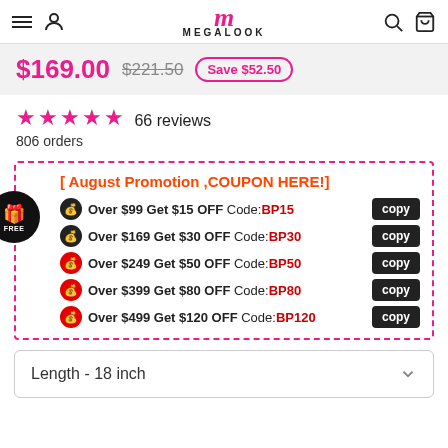MEGALOOK
$169.00  $221.50  Save $52.50
★★★★★ 66 reviews
806 orders
[ August Promotion ,COUPON HERE!]
Over $99 Get $15 OFF Code:BP15 copy
Over $169 Get $30 OFF Code:BP30 copy
Over $249 Get $50 OFF Code:BP50 copy
Over $399 Get $80 OFF Code:BP80 copy
Over $499 Get $120 OFF Code:BP120 copy
Length  -  18 inch